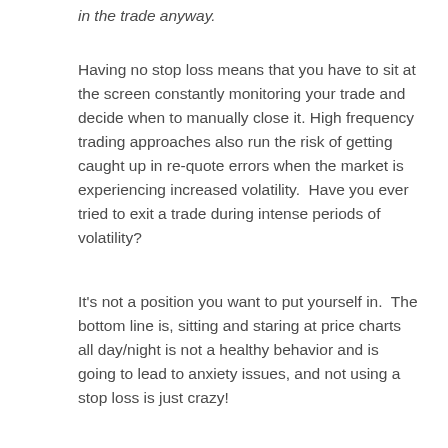in the trade anyway.
Having no stop loss means that you have to sit at the screen constantly monitoring your trade and decide when to manually close it. High frequency trading approaches also run the risk of getting caught up in re-quote errors when the market is experiencing increased volatility.  Have you ever tried to exit a trade during intense periods of volatility?
It's not a position you want to put yourself in.  The bottom line is, sitting and staring at price charts all day/night is not a healthy behavior and is going to lead to anxiety issues, and not using a stop loss is just crazy!